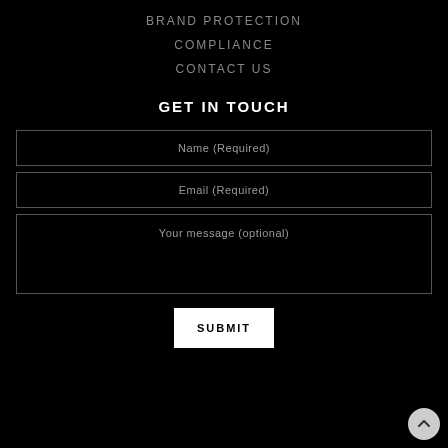BRAND PROTECTION
COMPLIANCE
CONTACT US
GET IN TOUCH
Name (Required)
Email (Required)
Your message (optional)
SUBMIT